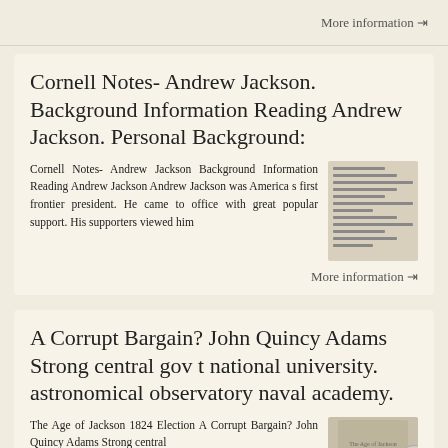More information →
Cornell Notes- Andrew Jackson. Background Information Reading Andrew Jackson. Personal Background:
Cornell Notes- Andrew Jackson Background Information Reading Andrew Jackson Andrew Jackson was America s first frontier president. He came to office with great popular support. His supporters viewed him
[Figure (photo): Thumbnail image of a document page with text lines]
More information →
A Corrupt Bargain? John Quincy Adams Strong central gov t national university. astronomical observatory naval academy.
The Age of Jackson 1824 Election A Corrupt Bargain? John Quincy Adams Strong central
[Figure (photo): Thumbnail image of a document or book page]